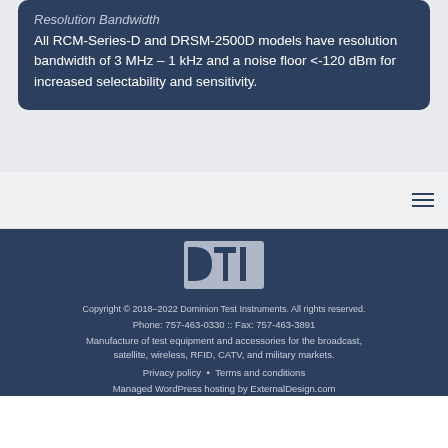Resolution Bandwidth
All RCM-Series-D and DRSM-2500D models have resolution bandwidth of 3 MHz – 1 kHz and a noise floor <-120 dBm for increased selectability and sensitivity.
[Figure (logo): DTI (Dominion Test Instruments) logo in white on dark navy background]
Copyright © 2018–2022 Dominion Test Instruments. All rights reserved. Phone: 757-463-0330 :: Fax: 757-463-3891 Manufacture of test equipment and accessories for the broadcast, satellite, wireless, RFID, CATV, and military markets. Privacy policy • Terms and conditions Managed WordPress hosting by ExternalDesign.com